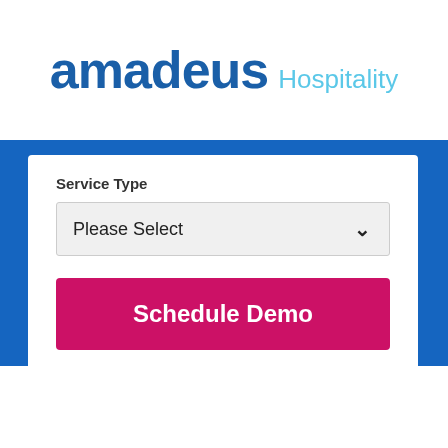[Figure (logo): Amadeus Hospitality logo — 'amadeus' in bold dark blue large text, 'Hospitality' in light blue smaller text to the right]
Service Type
Please Select
Schedule Demo
Privacy Policy